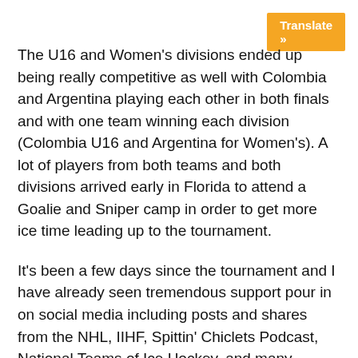Translate »
The U16 and Women's divisions ended up being really competitive as well with Colombia and Argentina playing each other in both finals and with one team winning each division (Colombia U16 and Argentina for Women's). A lot of players from both teams and both divisions arrived early in Florida to attend a Goalie and Sniper camp in order to get more ice time leading up to the tournament.
It's been a few days since the tournament and I have already seen tremendous support pour in on social media including posts and shares from the NHL, IIHF, Spittin' Chiclets Podcast, National Teams of Ice Hockey, and many others.
Overall, the tournament exceeded my expectations and was ran very professionally with some major sponsors